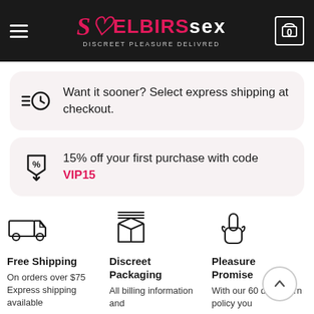[Figure (logo): ELBIRS SEX logo with tagline DISCREET PLEASURE DELIVRED on dark background, with hamburger menu and cart icon]
Want it sooner? Select express shipping at checkout.
15% off your first purchase with code VIP15
[Figure (illustration): Delivery truck icon]
Free Shipping
On orders over $75 Express shipping available
[Figure (illustration): Box/package icon]
Discreet Packaging
All billing information and
[Figure (illustration): Hand/promise icon]
Pleasure Promise
With our 60 day return policy you